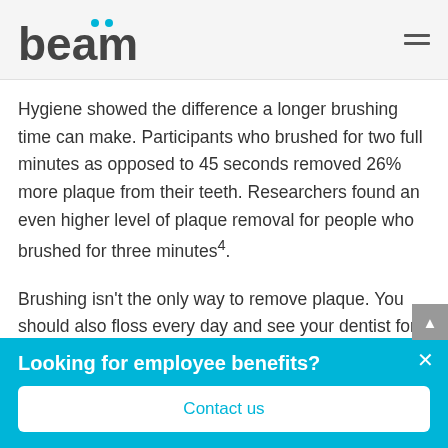beam
Hygiene showed the difference a longer brushing time can make. Participants who brushed for two full minutes as opposed to 45 seconds removed 26% more plaque from their teeth. Researchers found an even higher level of plaque removal for people who brushed for three minutes⁴.
Brushing isn’t the only way to remove plaque. You should also floss every day and see your dentist for a cleaning
Looking for employee benefits?
Contact us